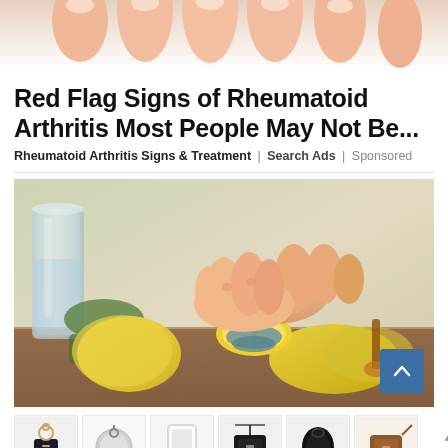[Figure (photo): Close-up of human fingers/hands from above, skin tones, pinkish background — top portion of ad image]
Red Flag Signs of Rheumatoid Arthritis Most People May Not Be...
Rheumatoid Arthritis Signs & Treatment | Search Ads | Sponsored
[Figure (photo): Person squeezing a lemon with a citrus juicer on a wooden surface, surrounded by lemons, a glass of water, and green vegetables]
[Figure (photo): Ad strip showing six product thumbnail images of small bags and accessories, with an ad badge and 'NOCMIE' label]